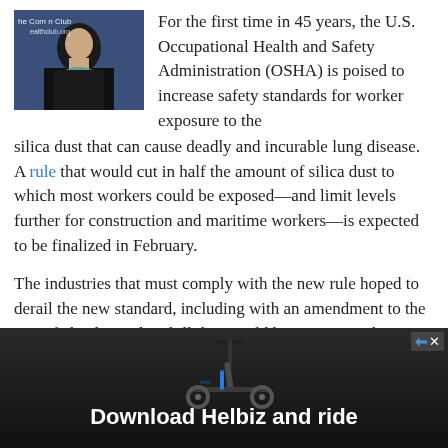[Figure (photo): Woman speaking at The Commonwealth Club event, text overlay 'he Com... Club healthclub.org']
For the first time in 45 years, the U.S. Occupational Health and Safety Administration (OSHA) is poised to increase safety standards for worker exposure to the silica dust that can cause deadly and incurable lung disease. A rule that would cut in half the amount of silica dust to which most workers could be exposed—and limit levels further for construction and maritime workers—is expected to be finalized in February.
The industries that must comply with the new rule hoped to derail the new standard, including with an amendment to the 2016 federal spending bill that would have prevented any spending to implement the new rules and required more study of silica's health effects. While in the bill up to the eleventh hour, this rider has been dropped from the
[Figure (photo): Advertisement banner showing a scooter with text 'Download Helbiz and ride']